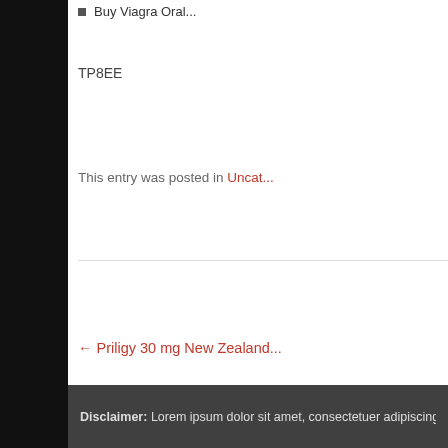Buy Viagra Oral...
TP8EE
This entry was posted in Uncat...
← Priligy 30 mg New Zealand...
Powered by WordPress. Theme: Basic Law by General Themes.
ALAN HAWORTH
111 Example Drive · Moscow, Idaho · 53219
Disclaimer: Lorem ipsum dolor sit amet, consectetuer adipiscing elit. A...